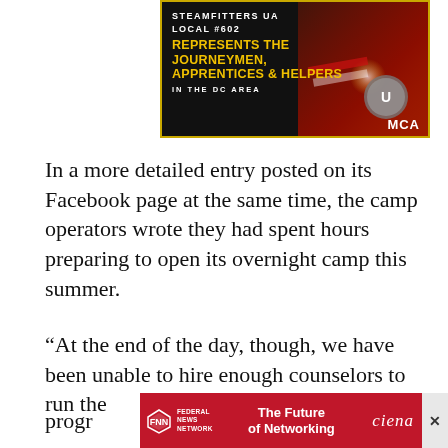[Figure (illustration): Advertisement banner for Steamfitters UA Local #602. Dark background with image of welder wearing American flag bandana. Text reads: STEAMFITTERS UA LOCAL #602 REPRESENTS THE JOURNEYMEN, APPRENTICES & HELPERS IN THE DC AREA. MCA logo in bottom right.]
In a more detailed entry posted on its Facebook page at the same time, the camp operators wrote they had spent hours preparing to open its overnight camp this summer.
“At the end of the day, though, we have been unable to hire enough counselors to run the progr[am...] tion
[Figure (illustration): Bottom advertisement banner for Federal News Network. Red background. FNN logo on left. Center text: The Future of Networking. Ciena logo on right.]